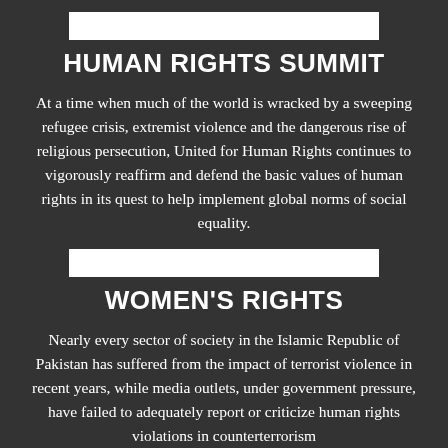[Figure (other): White horizontal bar decorative divider]
HUMAN RIGHTS SUMMIT
At a time when much of the world is wracked by a sweeping refugee crisis, extremist violence and the dangerous rise of religious persecution, United for Human Rights continues to vigorously reaffirm and defend the basic values of human rights in its quest to help implement global norms of social equality.
[Figure (other): White horizontal bar decorative divider]
WOMEN'S RIGHTS
Nearly every sector of society in the Islamic Republic of Pakistan has suffered from the impact of terrorist violence in recent years, while media outlets, under government pressure, have failed to adequately report or criticize human rights violations in counterterrorism